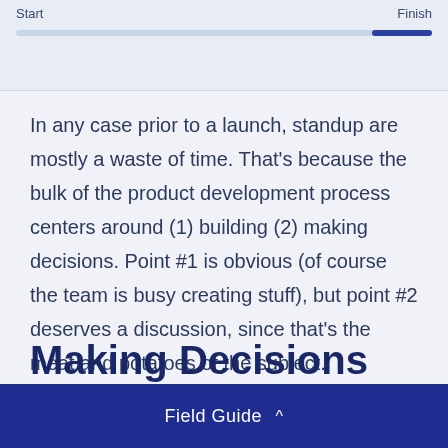[Figure (other): Progress bar UI element showing Start and Finish labels with a blue progress indicator near the Finish end]
In any case prior to a launch, standup are mostly a waste of time. That's because the bulk of the product development process centers around (1) building (2) making decisions. Point #1 is obvious (of course the team is busy creating stuff), but point #2 deserves a discussion, since that's the meat and potatoes of the subject.
Making Decisions
Field Guide ^